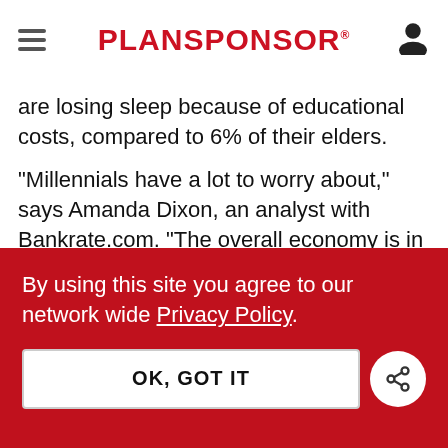PLANSPONSOR
are losing sleep because of educational costs, compared to 6% of their elders.
“Millennials have a lot to worry about,” says Amanda Dixon, an analyst with Bankrate.com. “The overall economy is in good shape, but wages are stagnant, housing costs are rising and the job market has become more competitive.
By using this site you agree to our network wide Privacy Policy.
OK, GOT IT